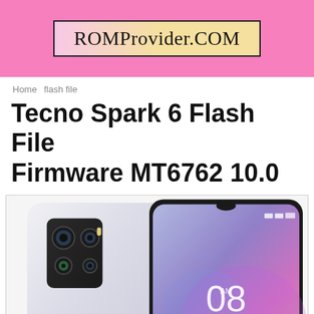[Figure (logo): ROMProvider.COM logo on pink background with gradient tan/pink box and dark border]
Home   flash file
Tecno Spark 6 Flash File Firmware MT6762 10.0
[Figure (photo): Tecno Spark 6 smartphone showing back panel with quad camera setup and front panel with lock screen displaying time 08:45]